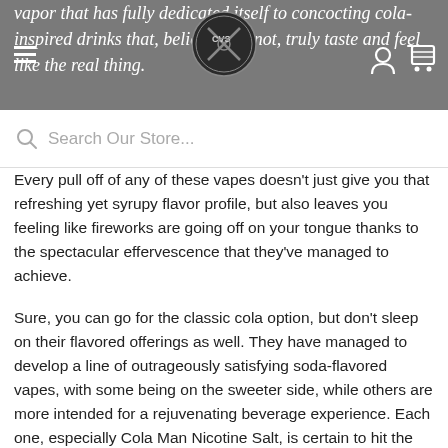vapor that has fully dedicated itself to concocting cola-inspired drinks that, believe it or not, truly taste and feel like the real thing.
Search Our Store...
Every pull off of any of these vapes doesn't just give you that refreshing yet syrupy flavor profile, but also leaves you feeling like fireworks are going off on your tongue thanks to the spectacular effervescence that they've managed to achieve.
Sure, you can go for the classic cola option, but don't sleep on their flavored offerings as well. They have managed to develop a line of outrageously satisfying soda-flavored vapes, with some being on the sweeter side, while others are more intended for a rejuvenating beverage experience. Each one, especially Cola Man Nicotine Salt, is certain to hit the spot thanks to the layers of flavors found within their profiles.